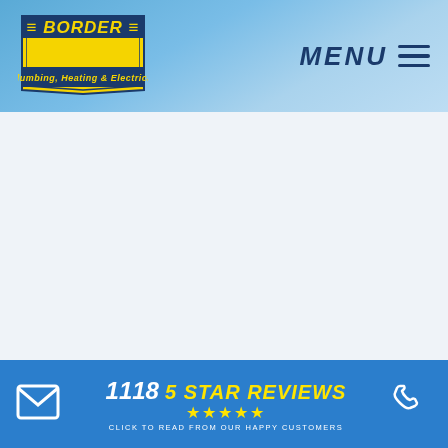Border Plumbing, Heating & Electrical | MENU
[Figure (logo): Border Plumbing, Heating & Electrical logo - yellow shield with blue text on blue banner background]
1118 5 STAR REVIEWS - CLICK TO READ FROM OUR HAPPY CUSTOMERS